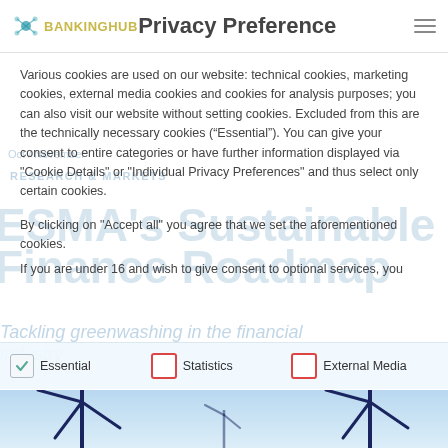BankingHub | Privacy Preference
Privacy Preference
Various cookies are used on our website: technical cookies, marketing cookies, external media cookies and cookies for analysis purposes; you can also visit our website without setting cookies. Excluded from this are the technically necessary cookies (“Essential”). You can give your consent to entire categories or have further information displayed via "Cookie Details" or "Individual Privacy Preferences" and thus select only certain cookies.
By clicking on "Accept all" you agree that we set the aforementioned cookies.
If you are under 16 and wish to give consent to optional services, you
Essential
Statistics
External Media
[Figure (photo): Wind turbines against a blue sky, bottom portion of the page]